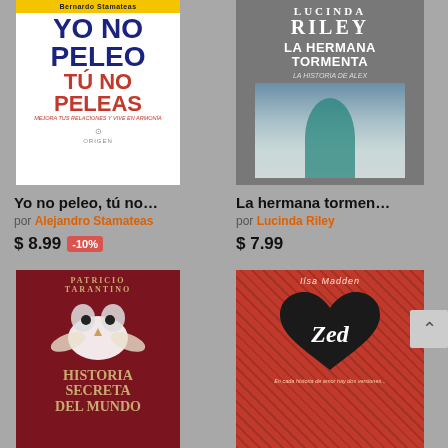[Figure (illustration): Book cover: Yo no peleo, tú no peleas by Bernardo Stamateas. Yellow banner at top with author name, large bold blue text 'YO NO PELEO', red text 'TÚ NO PELEAS', subtitle in red italic, publisher logo at bottom.]
Yo no peleo, tú no…
por Alejandro Stamateas
$ 8.99  -10%
[Figure (illustration): Book cover: La hermana tormenta by Lucinda Riley. Grey-blue atmospheric cover with woman in teal cloak in snowy landscape. Author name 'LUCINDA RILEY' at top, title 'LA HERMANA TORMENTA' below.]
La hermana tormen…
por Lucinda Riley
$ 7.99
[Figure (illustration): Book cover: Historia secreta del mundo by Patricio Tarantino. Dark red/burgundy background with white owl in flight, golden text 'HISTORIA SECRETA DEL MUNDO'.]
[Figure (illustration): Book cover: Zed. Red patterned background with large black heart shape, italic text 'Zed' inside heart, subtitle text below.]